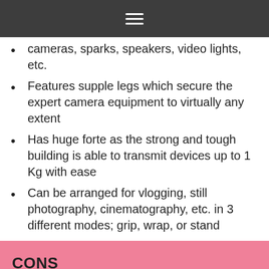≡
cameras, sparks, speakers, video lights, etc.
Features supple legs which secure the expert camera equipment to virtually any extent
Has huge forte as the strong and tough building is able to transmit devices up to 1 Kg with ease
Can be arranged for vlogging, still photography, cinematography, etc. in 3 different modes; grip, wrap, or stand
CONS
Legs should be a little lengthier
Not as long-lasting as one would prefer
Joints incline to be harshly damagingly wedged